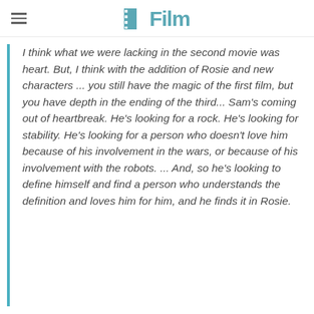/Film
I think what we were lacking in the second movie was heart. But, I think with the addition of Rosie and new characters ... you still have the magic of the first film, but you have depth in the ending of the third... Sam's coming out of heartbreak. He's looking for a rock. He's looking for stability. He's looking for a person who doesn't love him because of his involvement in the wars, or because of his involvement with the robots. ... And, so he's looking to define himself and find a person who understands the definition and loves him for him, and he finds it in Rosie.